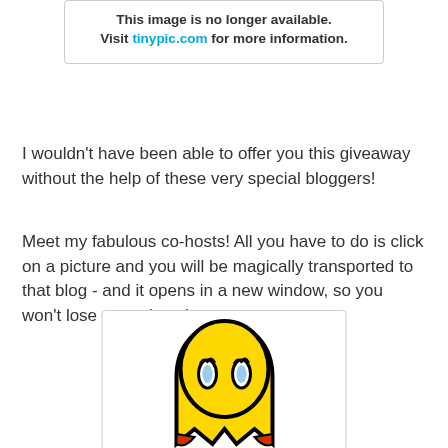[Figure (other): Tinypic image unavailable notice box with text: This image is no longer available. Visit tinypic.com for more information.]
I wouldn't have been able to offer you this giveaway without the help of these very special bloggers!
Meet my fabulous co-hosts! All you have to do is click on a picture and you will be magically transported to that blog - and it opens in a new window, so you won't lose your place here.
[Figure (illustration): Yellow cartoon ghost/character with black outline, blue eyes with eyelashes, visible from head to mid-body against white background inside a bordered box.]